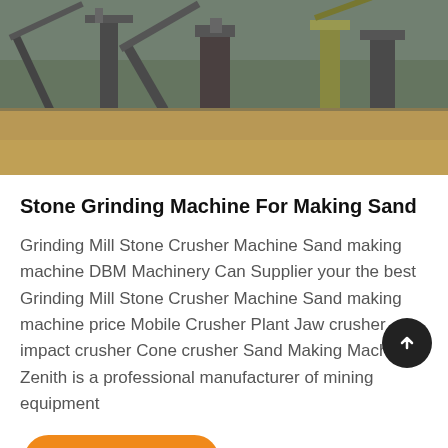[Figure (photo): Aerial/wide shot of an industrial stone crushing and sand making plant with machinery, conveyor belts, and excavators on a dry dirt field.]
Stone Grinding Machine For Making Sand
Grinding Mill Stone Crusher Machine Sand making machine DBM Machinery Can Supplier your the best Grinding Mill Stone Crusher Machine Sand making machine price Mobile Crusher Plant Jaw crusher impact crusher Cone crusher Sand Making Machine Zenith is a professional manufacturer of mining equipment
Get price